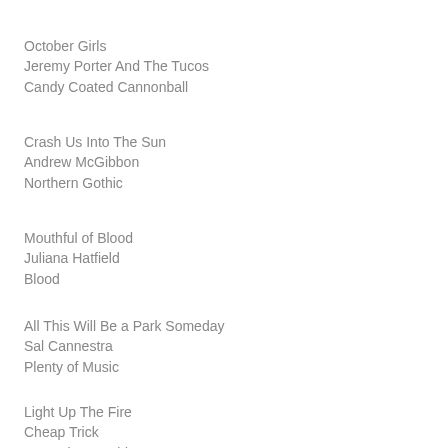October Girls
Jeremy Porter And The Tucos
Candy Coated Cannonball
Crash Us Into The Sun
Andrew McGibbon
Northern Gothic
Mouthful of Blood
Juliana Hatfield
Blood
All This Will Be a Park Someday
Sal Cannestra
Plenty of Music
Light Up The Fire
Cheap Trick
In Another World